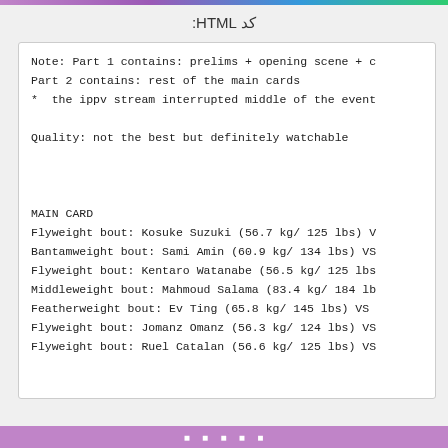کد HTML:
Note: Part 1 contains: prelims + opening scene + c
Part 2 contains: rest of the main cards
*  the ippv stream interrupted middle of the event

Quality: not the best but definitely watchable


MAIN CARD
Flyweight bout: Kosuke Suzuki (56.7 kg/ 125 lbs) V
Bantamweight bout: Sami Amin (60.9 kg/ 134 lbs) VS
Flyweight bout: Kentaro Watanabe (56.5 kg/ 125 lbs
Middleweight bout: Mahmoud Salama (83.4 kg/ 184 lb
Featherweight bout: Ev Ting (65.8 kg/ 145 lbs) VS
Flyweight bout: Jomanz Omanz (56.3 kg/ 124 lbs) VS
Flyweight bout: Ruel Catalan (56.6 kg/ 125 lbs) VS